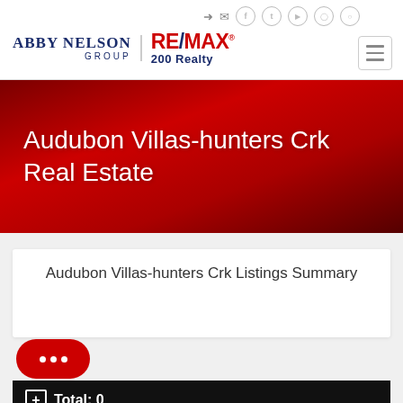[Figure (logo): Abby Nelson Group | RE/MAX 200 Realty logo with social media icons]
Audubon Villas-hunters Crk Real Estate
Audubon Villas-hunters Crk Listings Summary
Total: 0